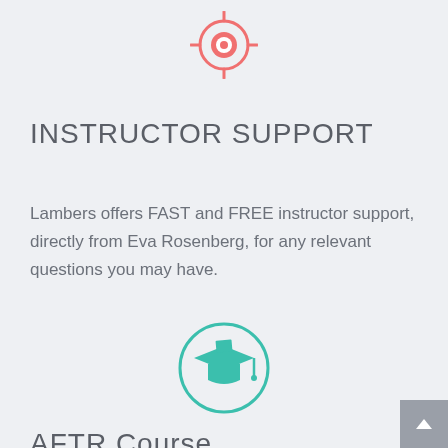[Figure (illustration): Pink/salmon colored circle with a life preserver / support icon inside, partially visible at top of page]
INSTRUCTOR SUPPORT
Lambers offers FAST and FREE instructor support, directly from Eva Rosenberg, for any relevant questions you may have.
[Figure (illustration): Teal/mint colored outlined circle with a graduation cap icon inside]
AFTR Course